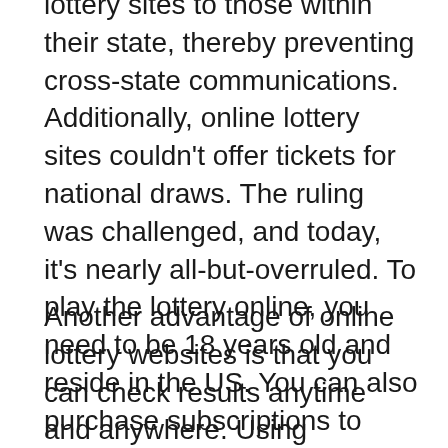lottery sites to those within their state, thereby preventing cross-state communications. Additionally, online lottery sites couldn't offer tickets for national draws. The ruling was challenged, and today, it's nearly all-but-overruled. To play the lottery online, you need to be 18 years old and reside in the US. You can also purchase subscriptions to lottery games online in certain states, but these aren't available everywhere.
Another advantage of online lottery websites is that you can check results anytime and anywhere. Using geolocation software, lottery websites verify that you are from the state in which you wish to play the lottery. You can also check out the past results of the lottery, including how many people